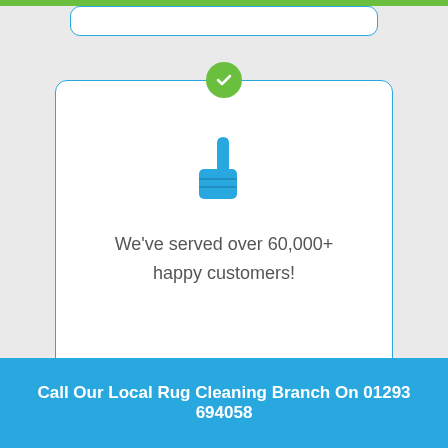[Figure (illustration): Partial white card at top with blue border, cut off by page edge]
[Figure (illustration): White card with blue border, green checkmark circle at top center, thumbs up icon, and customer count text]
We've served over 60,000+ happy customers!
Call Our Local Rug Cleaning Branch On 01293 694058